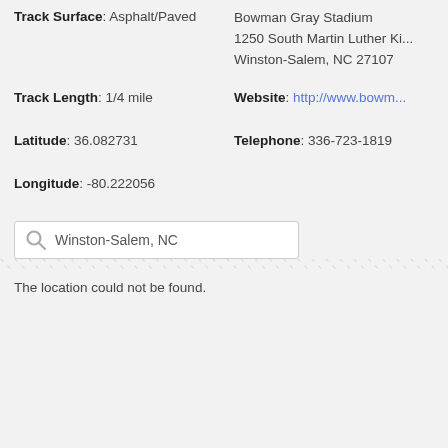Track Surface: Asphalt/Paved
Bowman Gray Stadium
1250 South Martin Luther Ki...
Winston-Salem, NC 27107
Track Length: 1/4 mile
Website: http://www.bowm...
Latitude: 36.082731
Telephone: 336-723-1819
Longitude: -80.222056
[Figure (screenshot): Search box with magnifying glass icon containing text 'Winston-Salem, NC']
The location could not be found.